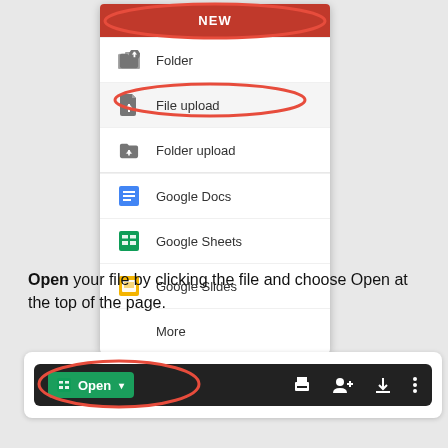[Figure (screenshot): Google Drive 'NEW' dropdown menu showing options: Folder, File upload (highlighted), Folder upload, Google Docs, Google Sheets, Google Slides, More. Red oval circles around the NEW button and the File upload option.]
Open your file by clicking the file and choose Open at the top of the page.
[Figure (screenshot): A dark toolbar showing a green 'Open' button with Google Sheets icon and chevron, followed by print, share, download, and more-options icons. A red oval circles the Open button.]